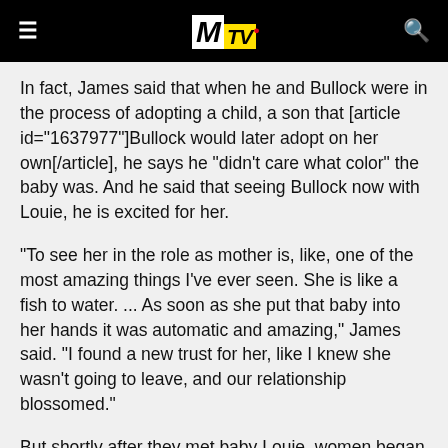MTV
In fact, James said that when he and Bullock were in the process of adopting a child, a son that [article id="1637977"]Bullock would later adopt on her own[/article], he says he "didn't care what color" the baby was. And he said that seeing Bullock now with Louie, he is excited for her.
"To see her in the role as mother is, like, one of the most amazing things I've ever seen. She is like a fish to water. ... As soon as she put that baby into her hands it was automatic and amazing," James said. "I found a new trust for her, like I knew she wasn't going to leave, and our relationship blossomed."
But shortly after they met baby Louie, women began admitting to having affairs with James. "I took a pretty